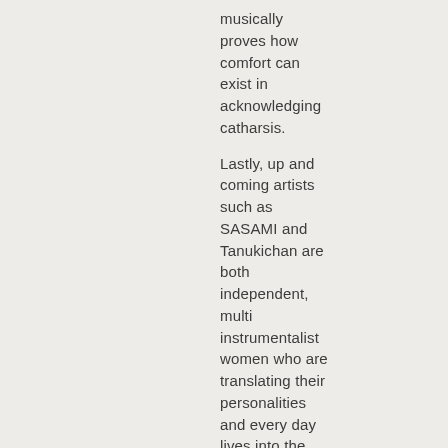musically proves how comfort can exist in acknowledging catharsis.
Lastly, up and coming artists such as SASAMI and Tanukichan are both independent, multi instrumentalist women who are translating their personalities and every day lives into the form of honest and introspective lyrics. Sasami